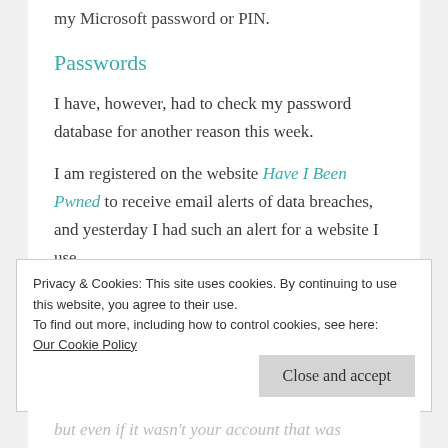my Microsoft password or PIN.
Passwords
I have, however, had to check my password database for another reason this week.
I am registered on the website Have I Been Pwned to receive email alerts of data breaches, and yesterday I had such an alert for a website I use.
Privacy & Cookies: This site uses cookies. By continuing to use this website, you agree to their use.
To find out more, including how to control cookies, see here:
Our Cookie Policy
Close and accept
but even if it wasn't your account that was